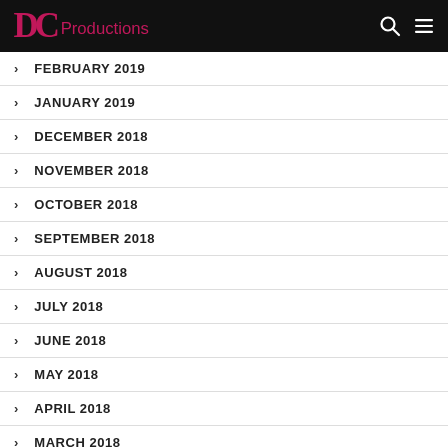DC Productions
FEBRUARY 2019
JANUARY 2019
DECEMBER 2018
NOVEMBER 2018
OCTOBER 2018
SEPTEMBER 2018
AUGUST 2018
JULY 2018
JUNE 2018
MAY 2018
APRIL 2018
MARCH 2018